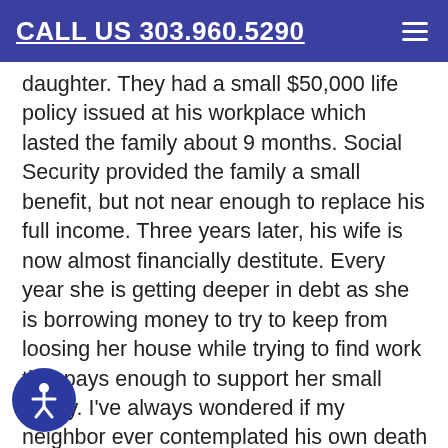CALL US 303.960.5290
daughter. They had a small $50,000 life policy issued at his workplace which lasted the family about 9 months. Social Security provided the family a small benefit, but not near enough to replace his full income. Three years later, his wife is now almost financially destitute. Every year she is getting deeper in debt as she is borrowing money to try to keep from loosing her house while trying to find work that pays enough to support her small family. I've always wondered if my neighbor ever contemplated his own death and the consequences it would have on his family? If you have dependents 'for a life time' such as a non-working spouse or disabled descendants; or if you have dependents'for a temporary time period' such as supporting children until they become dependent (usually somewhere in their early 20's) …. you need life insurance.